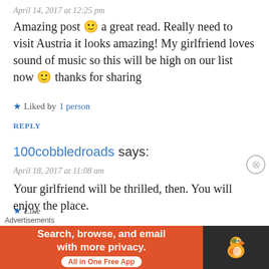April 14, 2017 at 12:25 pm
Amazing post 🙂 a great read. Really need to visit Austria it looks amazing! My girlfriend loves sound of music so this will be high on our list now 🙂 thanks for sharing
★ Liked by 1 person
REPLY
100cobbledroads says:
April 18, 2017 at 11:08 am
Your girlfriend will be thrilled, then. You will enjoy the place.
★ Like
REPLY
Sandy N Vyjay says:
[Figure (infographic): DuckDuckGo advertisement banner: orange background with text 'Search, browse, and email with more privacy. All in One Free App' and DuckDuckGo duck logo on dark background]